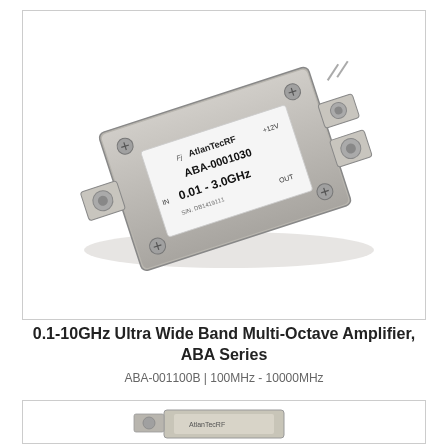[Figure (photo): Photo of AtlanTecRF ABA-0001030 RF amplifier module, a metallic rectangular enclosure with SMA connectors on left and right sides, labeled with AtlanTecRF branding, model number ABA-0001030, frequency range 0.01-3.0GHz, serial number DB1419111, IN and OUT port labels, and +12V supply marking.]
0.1-10GHz Ultra Wide Band Multi-Octave Amplifier, ABA Series
ABA-001100B | 100MHz - 10000MHz
[Figure (photo): Partial photo of another AtlanTecRF amplifier module, partially visible at bottom of page.]